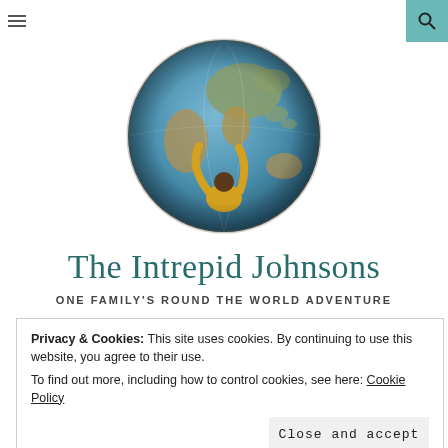≡  [search icon]
[Figure (photo): A child in a yellow sweater reaching up to touch a large globe, viewed from behind. The globe shows Asia and the Indian Ocean prominently.]
The Intrepid Johnsons
ONE FAMILY'S ROUND THE WORLD ADVENTURE
Privacy & Cookies: This site uses cookies. By continuing to use this website, you agree to their use.
To find out more, including how to control cookies, see here: Cookie Policy
Close and accept